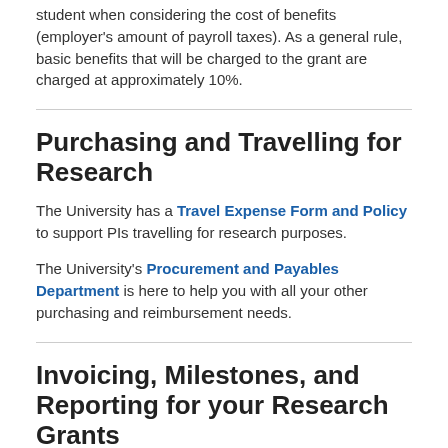student when considering the cost of benefits (employer's amount of payroll taxes). As a general rule, basic benefits that will be charged to the grant are charged at approximately 10%.
Purchasing and Travelling for Research
The University has a Travel Expense Form and Policy to support PIs travelling for research purposes.
The University's Procurement and Payables Department is here to help you with all your other purchasing and reimbursement needs.
Invoicing, Milestones, and Reporting for your Research Grants
Many externally funded grants require some financial reporting by the University and/or require that the University issue an invoice to the granting agency in order to receive payment. Research Finance is here to help you with